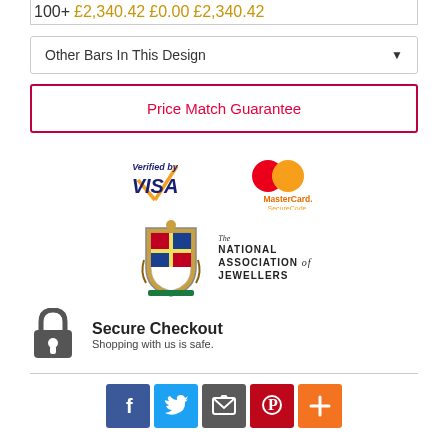| 100+ | £2,340.42 | £0.00 | £2,340.42 |
| --- | --- | --- | --- |
Other Bars In This Design
Price Match Guarantee
[Figure (logo): Verified by VISA logo with blue and gold text]
[Figure (logo): MasterCard SecureCode logo with red and orange text]
[Figure (logo): The National Association of Jewellers logo with coat of arms]
Secure Checkout
Shopping with us is safe.
[Figure (infographic): Social sharing icons: Facebook, Twitter, Email, Pinterest, More]